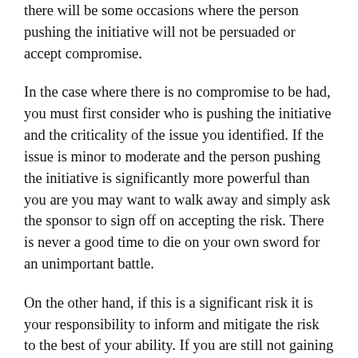there will be some occasions where the person pushing the initiative will not be persuaded or accept compromise.
In the case where there is no compromise to be had, you must first consider who is pushing the initiative and the criticality of the issue you identified. If the issue is minor to moderate and the person pushing the initiative is significantly more powerful than you are you may want to walk away and simply ask the sponsor to sign off on accepting the risk. There is never a good time to die on your own sword for an unimportant battle.
On the other hand, if this is a significant risk it is your responsibility to inform and mitigate the risk to the best of your ability. If you are still not gaining traction, consider that there may be forces at hand that you are not aware of. If after contemplation and discussing your concerns with the sponsor you still feel this is a catastrophic